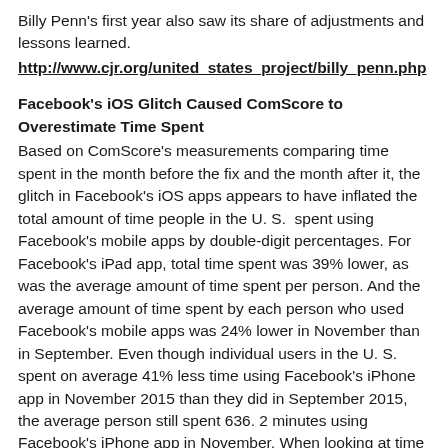Billy Penn's first year also saw its share of adjustments and lessons learned.
http://www.cjr.org/united_states_project/billy_penn.php
Facebook's iOS Glitch Caused ComScore to Overestimate Time Spent
Based on ComScore's measurements comparing time spent in the month before the fix and the month after it, the glitch in Facebook's iOS apps appears to have inflated the total amount of time people in the U. S.  spent using Facebook's mobile apps by double-digit percentages. For Facebook's iPad app, total time spent was 39% lower, as was the average amount of time spent per person. And the average amount of time spent by each person who used Facebook's mobile apps was 24% lower in November than in September. Even though individual users in the U. S.  spent on average 41% less time using Facebook's iPhone app in November 2015 than they did in September 2015, the average person still spent 636. 2 minutes using Facebook's iPhone app in November. When looking at time spent on Facebook across its desktop and mobile sites and mobile apps, the total amount of time spent on